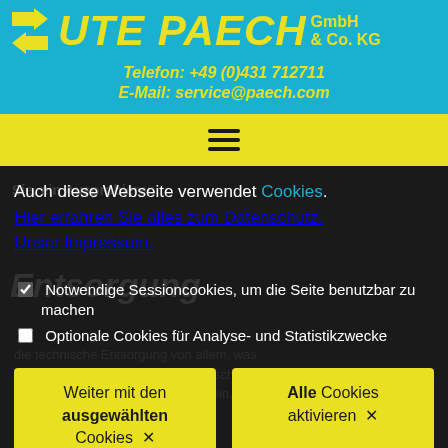[Figure (logo): Ute Paech GmbH & Co. KG logo with blue background, yellow arrows and yellow italic text]
Telefon: +49 (0)431 712711
E-Mail: service@paech.com
[Figure (other): Yellow navigation bar with hamburger menu icon]
Auch diese Webseite verwendet Cookies. Hier erfahren Sie alles zum Datenschutz. Unser Impressum.
Notwendige Sessioncookies, um die Seite benutzbar zu machen
Optionale Cookies für Analyse- und Statistikzwecke
Weiter mit den ausgewählten Cookies ✕
Alle Cookies aktivieren ✕